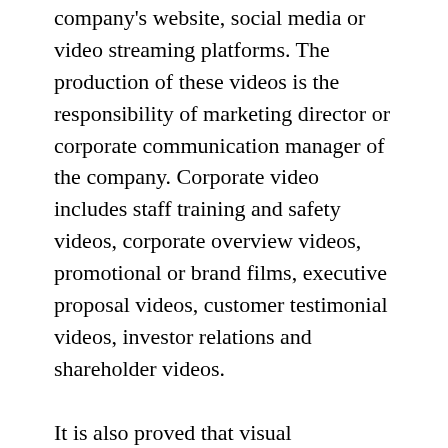company's website, social media or video streaming platforms. The production of these videos is the responsibility of marketing director or corporate communication manager of the company. Corporate video includes staff training and safety videos, corporate overview videos, promotional or brand films, executive proposal videos, customer testimonial videos, investor relations and shareholder videos.
It is also proved that visual representation of information retains longer than the textual information. However, there are various parameters to be considered while creating business video that are cumbersome. The organisations need corporate video solutions